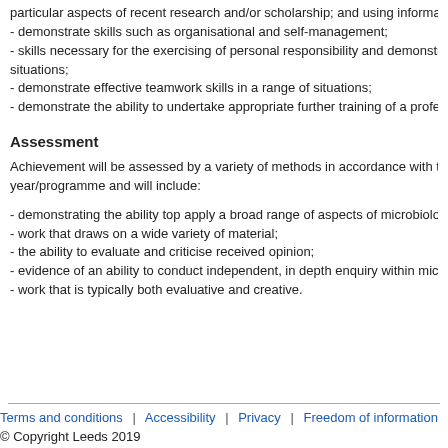particular aspects of recent research and/or scholarship; and using information to s
- demonstrate skills such as organisational and self-management;
- skills necessary for the exercising of personal responsibility and demonstrate dec
situations;
- demonstrate effective teamwork skills in a range of situations;
- demonstrate the ability to undertake appropriate further training of a professional
Assessment
Achievement will be assessed by a variety of methods in accordance with the learn year/programme and will include:
- demonstrating the ability top apply a broad range of aspects of microbiology;
- work that draws on a wide variety of material;
- the ability to evaluate and criticise received opinion;
- evidence of an ability to conduct independent, in depth enquiry within microbiolog
- work that is typically both evaluative and creative.
Terms and conditions | Accessibility | Privacy | Freedom of information
© Copyright Leeds 2019